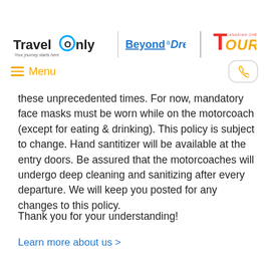[Figure (logo): TravelOnly logo with tagline 'Your journey starts here', BeyondaDream logo, and Canadian Christian Tours logo]
Menu | phone button
these unprecedented times. For now, mandatory face masks must be worn while on the motorcoach (except for eating & drinking). This policy is subject to change. Hand santitizer will be available at the entry doors. Be assured that the motorcoaches will undergo deep cleaning and sanitizing after every departure. We will keep you posted for any changes to this policy.
Thank you for your understanding!
Learn more about us >